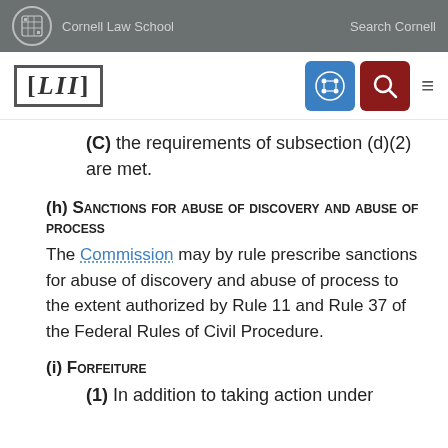Cornell Law School    Search Cornell
(C) the requirements of subsection (d)(2) are met.
(h) Sanctions for abuse of discovery and abuse of process
The Commission may by rule prescribe sanctions for abuse of discovery and abuse of process to the extent authorized by Rule 11 and Rule 37 of the Federal Rules of Civil Procedure.
(i) Forfeiture
(1) In addition to taking action under